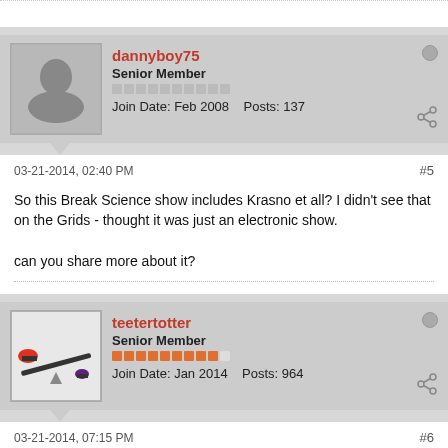dannyboy75 — Senior Member — Join Date: Feb 2008  Posts: 137
03-21-2014, 02:40 PM  #5
So this Break Science show includes Krasno et all? I didn't see that on the Grids - thought it was just an electronic show.

can you share more about it?
teetertotter — Senior Member — Join Date: Jan 2014  Posts: 964
03-21-2014, 07:15 PM  #6